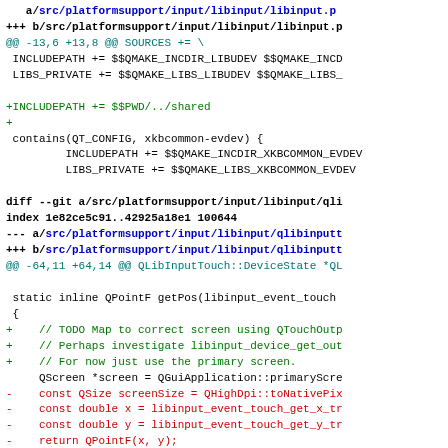git diff output showing changes to libinput platform support files, including additions of INCLUDEPATH for $$PWD/../shared, xkbcommon-evdev contains block, and modifications to qlibinputtouch getPos function adding QTouchOutput screen mapping comments and replacing QHighDpi calls with QRect geom approach.